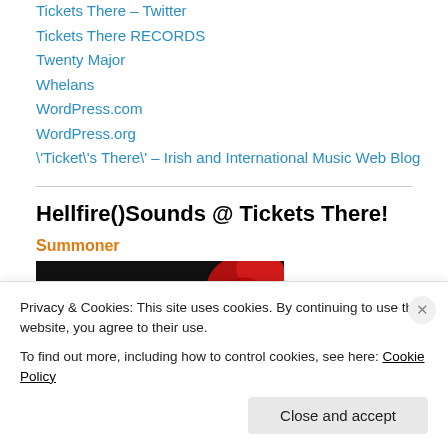Tickets There – Twitter
Tickets There RECORDS
Twenty Major
Whelans
WordPress.com
WordPress.org
\'Ticket\'s There\' – Irish and International Music Web Blog
Hellfire()Sounds @ Tickets There!
Summoner
[Figure (screenshot): Ticketmaster logo banner on dark background with red splash graphic and navigation links]
Privacy & Cookies: This site uses cookies. By continuing to use this website, you agree to their use.
To find out more, including how to control cookies, see here: Cookie Policy
Close and accept